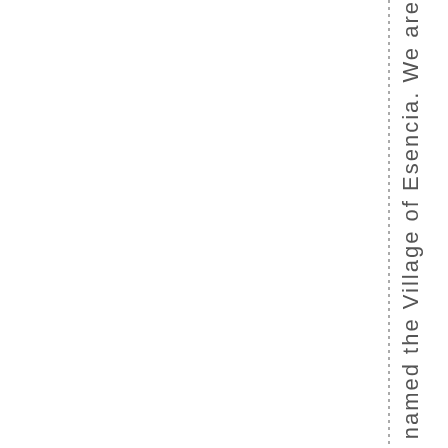named the Village of Esencia. We are